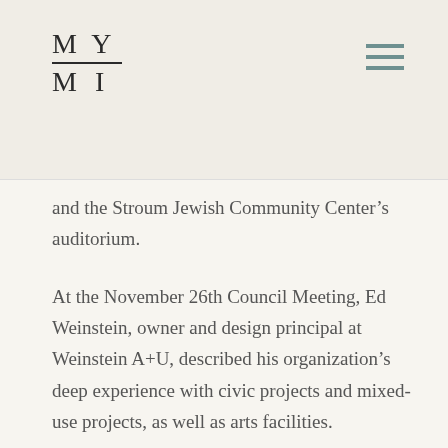MY MI
and the Stroum Jewish Community Center's auditorium.
At the November 26th Council Meeting, Ed Weinstein, owner and design principal at Weinstein A+U, described his organization's deep experience with civic projects and mixed-use projects, as well as arts facilities.
As the Mercer Island Center for the Arts (MICA) has been central to each developer's designs, Weinstein discussed two of his